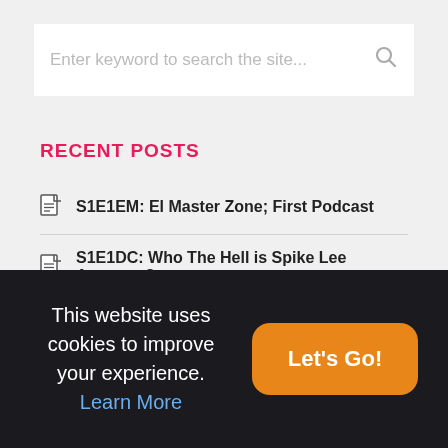Enter keyword to search the site...
RECENT POSTS
S1E1EM: El Master Zone; First Podcast
S1E1DC: Who The Hell is Spike Lee Anyways?
Dos Cervezas Podcast Intro
This website uses cookies to improve your experience. Learn More
Let's Go!